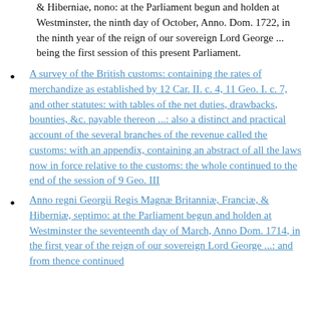& Hiberniae, nono: at the Parliament begun and holden at Westminster, the ninth day of October, Anno. Dom. 1722, in the ninth year of the reign of our sovereign Lord George ... being the first session of this present Parliament.
A survey of the British customs: containing the rates of merchandize as established by 12 Car. II. c. 4, 11 Geo. I. c. 7, and other statutes: with tables of the net duties, drawbacks, bounties, &c. payable thereon ...: also a distinct and practical account of the several branches of the revenue called the customs: with an appendix, containing an abstract of all the laws now in force relative to the customs: the whole continued to the end of the session of 9 Geo. III
Anno regni Georgii Regis Magnæ Britanniæ, Franciæ, & Hiberniæ, septimo: at the Parliament begun and holden at Westminster the seventeenth day of March, Anno Dom. 1714, in the first year of the reign of our sovereign Lord George ...: and from thence continued